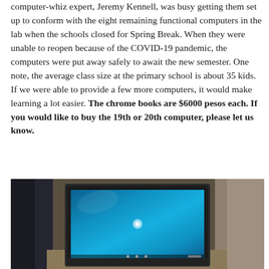computer-whiz expert, Jeremy Kennell, was busy getting them set up to conform with the eight remaining functional computers in the lab when the schools closed for Spring Break. When they were unable to reopen because of the COVID-19 pandemic, the computers were put away safely to await the new semester. One note, the average class size at the primary school is about 35 kids. If we were able to provide a few more computers, it would make learning a lot easier. The chrome books are $6000 pesos each. If you would like to buy the 19th or 20th computer, please let us know.
[Figure (photo): Photo of a Chromebook laptop computer with a blue screen, sitting on a surface with a dark background and textured wall behind it.]